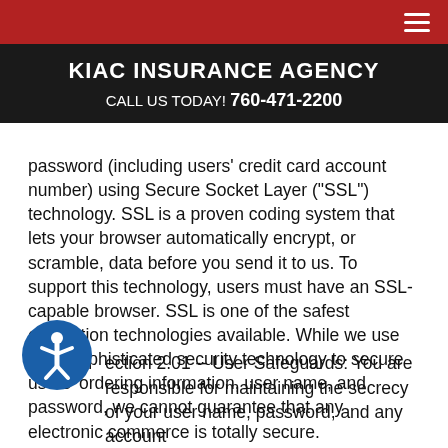KIAC INSURANCE AGENCY
CALL US TODAY! 760-471-2200
password (including users' credit card account number) using Secure Socket Layer ("SSL") technology. SSL is a proven coding system that lets your browser automatically encrypt, or scramble, data before you send it to us. To support this technology, users must have an SSL-capable browser. SSL is one of the safest encryption technologies available. While we use such sophisticated security technology to secure users' ordering information, user name, and password, we cannot guarantee that any electronic commerce is totally secure.
Section 2.01 -- User Safeguards: You are responsible for maintaining the secrecy of your user name, password, and any account